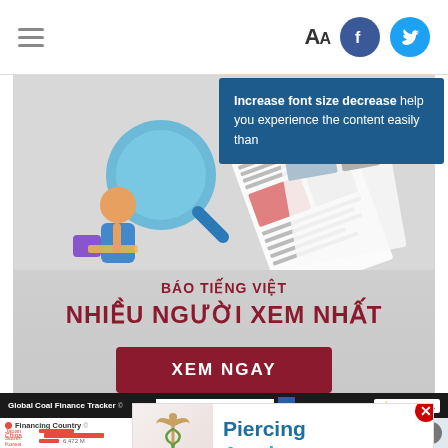Navigation bar with hamburger menu, font size control AA, Facebook and Twitter icons
Increase font size decrease help you experience the content easily than
[Figure (screenshot): Vietnamese news website advertisement banner showing a person with magnifying glass viewing web pages, with text BÁO TIẾNG VIỆT / NHIỀU NGƯỜI XEM NHẤT and a red button XEM NGAY]
[Figure (screenshot): Global Coal Finance Tracker bar with search field and ENDCOAL logo, showing Financing Country list with China, Japan, South Korea and bar charts, overlaid by Piercing Academy advertisement with caduceus symbol]
Global Coal Finance Tracker
Financing Country
China
Japan
South Korea
6,472 M
Piercing Academy
RETURN TO
ENDCOAL